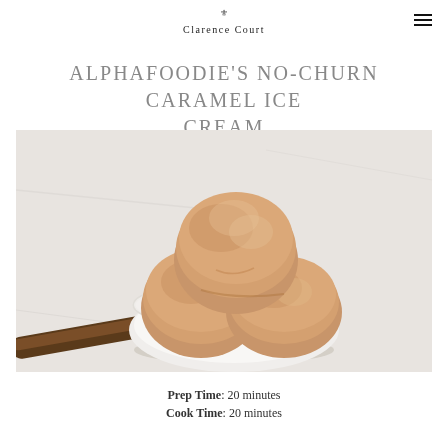Clarence Court
ALPHAFOODIE'S NO-CHURN CARAMEL ICE CREAM
[Figure (photo): Top-down view of a white bowl containing three scoops of caramel-colored ice cream with a vintage spoon resting against it on a light marble surface.]
Prep Time: 20 minutes
Cook Time: 20 minutes